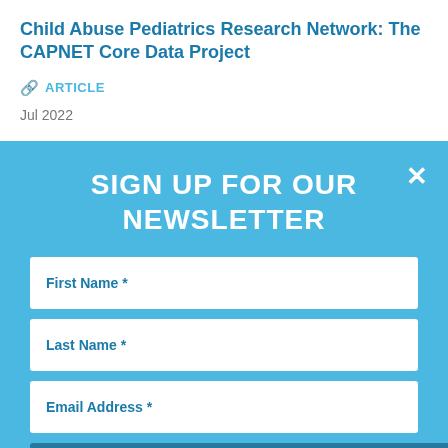Child Abuse Pediatrics Research Network: The CAPNET Core Data Project
ARTICLE
Jul 2022
SIGN UP FOR OUR NEWSLETTER
First Name *
Last Name *
Email Address *
Sign Up